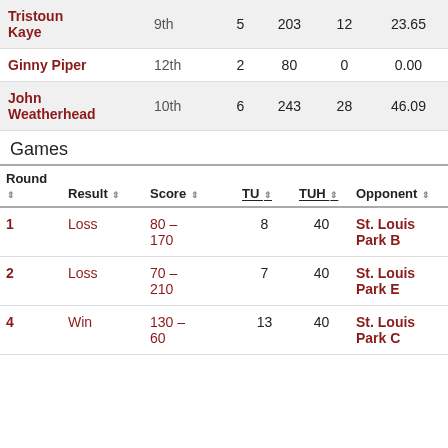| Name | Rank | Col1 | Col2 | Col3 | Col4 |
| --- | --- | --- | --- | --- | --- |
| Tristoun Kaye | 9th | 5 | 203 | 12 | 23.65 |
| Ginny Piper | 12th | 2 | 80 | 0 | 0.00 |
| John Weatherhead | 10th | 6 | 243 | 28 | 46.09 |
Games
| Round | Result | Score | TU | TUH | Opponent |
| --- | --- | --- | --- | --- | --- |
| 1 | Loss | 80 – 170 | 8 | 40 | St. Louis Park B |
| 2 | Loss | 70 – 210 | 7 | 40 | St. Louis Park E |
| 4 | Win | 130 – 60 | 13 | 40 | St. Louis Park C |